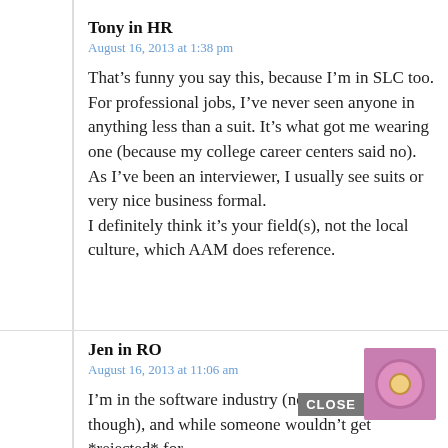Tony in HR
August 16, 2013 at 1:38 pm
That's funny you say this, because I'm in SLC too.
For professional jobs, I've never seen anyone in anything less than a suit. It's what got me wearing one (because my college career centers said no). As I've been an interviewer, I usually see suits or very nice business formal.
I definitely think it's your field(s), not the local culture, which AAM does reference.
Jen in RO
August 16, 2013 at 11:06 am
I'm in the software industry (not in the US, though), and while someone wouldn't get *rejected* for